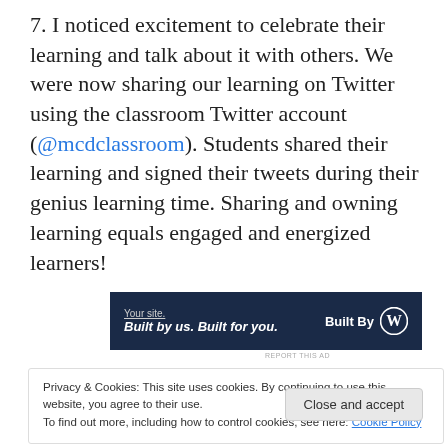7.  I noticed excitement to celebrate their learning and talk about it with others.  We were  now sharing our learning on Twitter using the classroom Twitter account (@mcdclassroom).  Students shared their learning and signed their tweets during their genius learning time.  Sharing and owning learning equals engaged and energized learners!
[Figure (other): Advertisement banner with dark navy background. Left side shows 'Your site.' and 'Built by us. Built for you.' text in white/italic. Right side shows 'Built By' text and WordPress logo in white.]
REPORT THIS AD
Privacy & Cookies: This site uses cookies. By continuing to use this website, you agree to their use. To find out more, including how to control cookies, see here: Cookie Policy